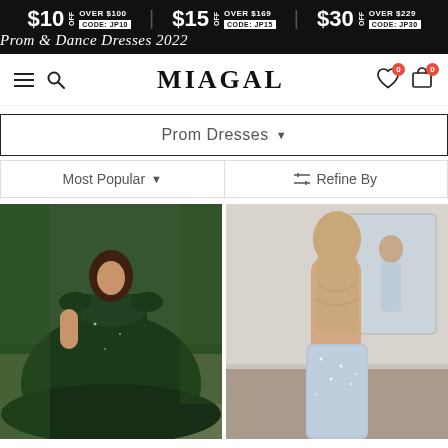[Figure (screenshot): Promotional banner with discount offers: $10 off over $100 CODE: JP10, $15 off over $169 CODE: JP15, $30 off over $229 CODE: JP30. Subtitle: Prom & Dance Dresses 2022]
MIAGAL — navigation bar with hamburger menu, search icon, brand name MIAGAL, wishlist (0) and cart (0) icons
Prom Dresses ▼
Most Popular ▼    ⇅ Refine By
[Figure (photo): Woman wearing a dark emerald green off-shoulder ball gown prom dress with lace bodice, outdoors]
[Figure (photo): Woman from behind wearing a light blue backless sequin mermaid prom dress, in a mirror reflection setting]